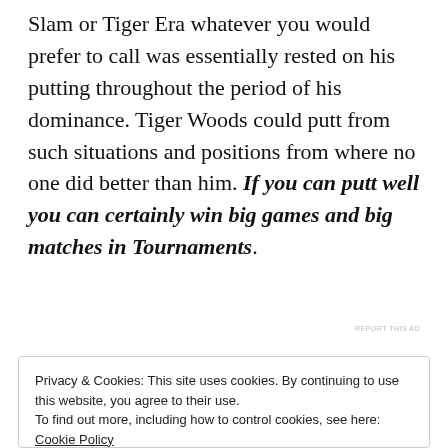Slam or Tiger Era whatever you would prefer to call was essentially rested on his putting throughout the period of his dominance. Tiger Woods could putt from such situations and positions from where no one did better than him. If you can putt well you can certainly win big games and big matches in Tournaments.
[Figure (other): Jetpack advertisement banner with green background, Jetpack logo and 'Secure Your Site' button]
REPORT THIS AD
2        I am certain that you must have heard almost
Privacy & Cookies: This site uses cookies. By continuing to use this website, you agree to their use.
To find out more, including how to control cookies, see here: Cookie Policy
Close and accept
our non-progressiveness self. I would like to offer a